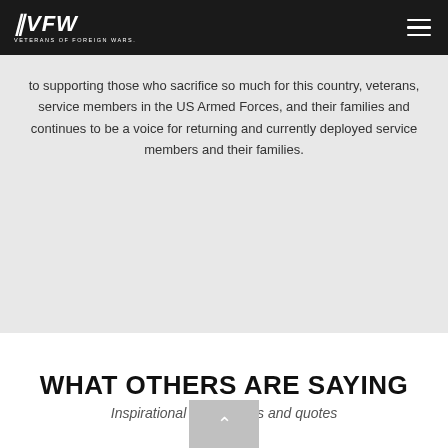VFW — Veterans of Foreign Wars
to supporting those who sacrifice so much for this country, veterans, service members in the US Armed Forces, and their families and continues to be a voice for returning and currently deployed service members and their families.
WHAT OTHERS ARE SAYING
Inspirational testimonials and quotes